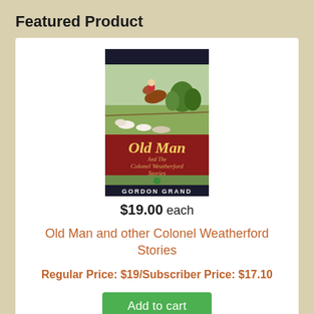Featured Product
[Figure (illustration): Book cover of 'Old Man and the Colonel Weatherford Stories' by Gordon Grand, featuring a fox hunting scene with horses, hounds, and riders in a countryside landscape.]
$19.00 each
Old Man and other Colonel Weatherford Stories
Regular Price: $19/Subscriber Price: $17.10